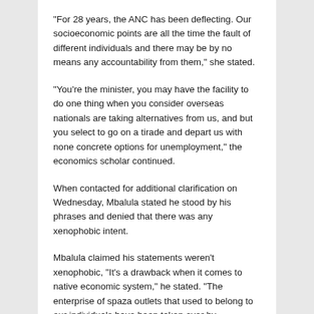“For 28 years, the ANC has been deflecting. Our socioeconomic points are all the time the fault of different individuals and there may be by no means any accountability from them,” she stated.
“You’re the minister, you may have the facility to do one thing when you consider overseas nationals are taking alternatives from us, and but you select to go on a tirade and depart us with none concrete options for unemployment,” the economics scholar continued.
When contacted for additional clarification on Wednesday, Mbalula stated he stood by his phrases and denied that there was any xenophobic intent.
Mbalula claimed his statements weren’t xenophobic, “It’s a drawback when it comes to native economic system,” he stated. “The enterprise of spaza outlets that used to belong to our individuals have been taken over by Pakistanis. They’ll now not survive and haven’t any possibility however to give up.”